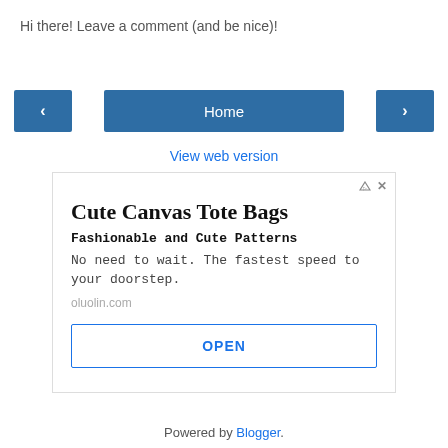Hi there! Leave a comment (and be nice)!
[Figure (screenshot): Navigation bar with left arrow button, Home button, and right arrow button in blue]
View web version
[Figure (screenshot): Advertisement for Cute Canvas Tote Bags from oluolin.com with OPEN button]
Powered by Blogger.